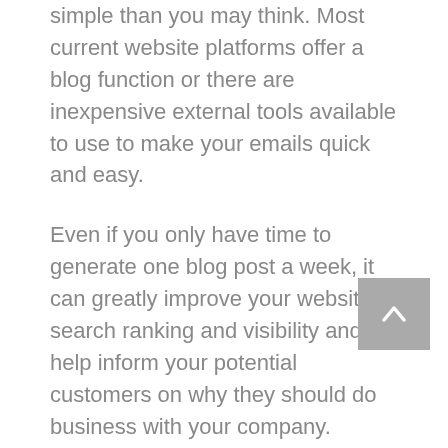Starting a blog can be much more simple than you may think. Most current website platforms offer a blog function or there are inexpensive external tools available to use to make your emails quick and easy.
Even if you only have time to generate one blog post a week, it can greatly improve your website's search ranking and visibility and help inform your potential customers on why they should do business with your company. Writing a blog also generates a way for you to continue to establish your brand and build a faithful audience.
After writing a few blogs you can begin to implement calls to action to have visitors subscribe to your emails. This